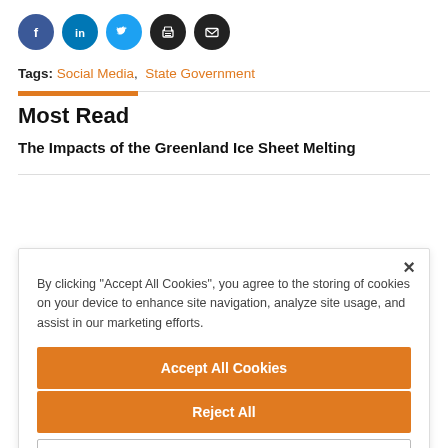[Figure (other): Row of 5 social media/action icon circles: Facebook (blue), LinkedIn (blue), Twitter (light blue), Print (black), Email (black)]
Tags: Social Media, State Government
Most Read
The Impacts of the Greenland Ice Sheet Melting
By clicking "Accept All Cookies", you agree to the storing of cookies on your device to enhance site navigation, analyze site usage, and assist in our marketing efforts.
Accept All Cookies
Reject All
Cookies Settings